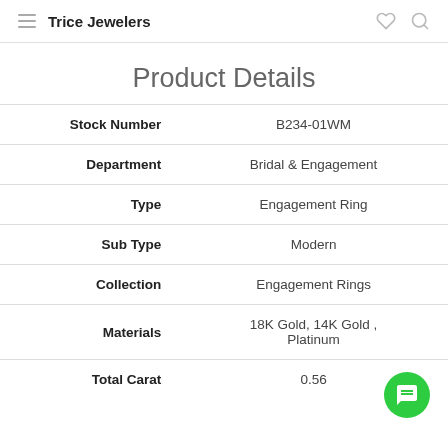Trice Jewelers
Product Details
| Field | Value |
| --- | --- |
| Stock Number | B234-01WM |
| Department | Bridal & Engagement |
| Type | Engagement Ring |
| Sub Type | Modern |
| Collection | Engagement Rings |
| Materials | 18K Gold, 14K Gold , Platinum |
| Total Carat | 0.56 |